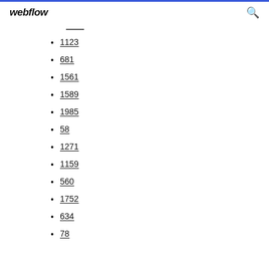webflow
1123
681
1561
1589
1985
58
1271
1159
560
1752
634
78